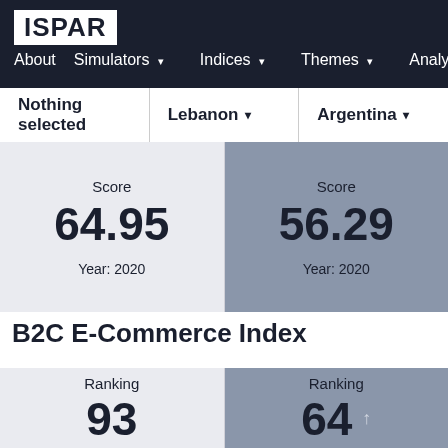ISPAR — About  Simulators ▾  Indices ▾  Themes ▾  Analy
Nothing selected   Lebanon ▾   Argentina ▾
|  | Lebanon | Argentina |
| --- | --- | --- |
| Score | 64.95 | 56.29 |
| Year: 2020 |  | Year: 2020 |
B2C E-Commerce Index
|  | Lebanon | Argentina |
| --- | --- | --- |
| Ranking | 93 | 64 ↑ |